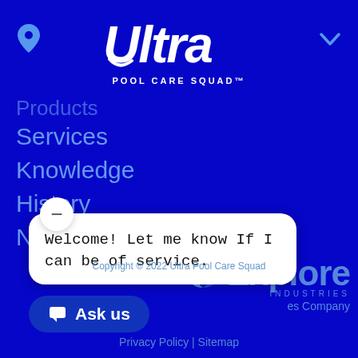[Figure (logo): Ultra Pool Care Squad logo — white bold italic text with swoosh, on dark blue header bar]
Services
Knowledge
History
News
[Figure (logo): Explore Industries logo with crescent icon in blue tones on dark blue background, with text 'es Company' partially visible]
Welcome! Let me know If I can be of service.
Ask us
Copyright © 2022 Ultra Pool Care Squad
Privacy Policy | Sitemap